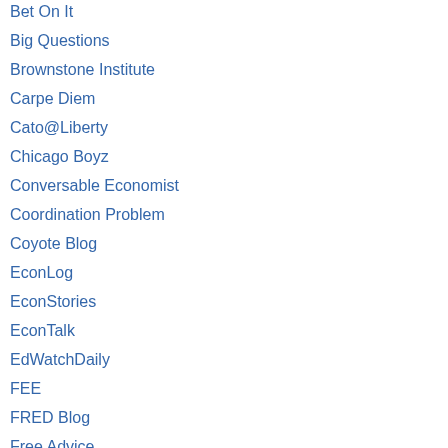Bet On It
Big Questions
Brownstone Institute
Carpe Diem
Cato@Liberty
Chicago Boyz
Conversable Economist
Coordination Problem
Coyote Blog
EconLog
EconStories
EconTalk
EdWatchDaily
FEE
FRED Blog
Free Advice
Free Association
require students to wear eith outside, and prohibit them fr Amherst area without permis made them takeout only. Afte the outdoor mask mandate a local restaurants, the Boston travel, gather in groups or ea outdoors.
What message does this sen end of the deal—get vaccina have no obligation to uphold draconian restrictions in near Yes, the Delta variant is more to 29-year-olds are up from t in winter, no doubt thanks to
.....
These restrictions are not on by data; they are corrosive to paragons of integrity and eth their own moral authority.